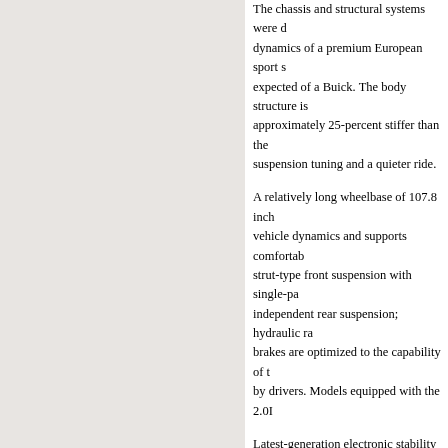The chassis and structural systems were designed to deliver the dynamics of a premium European sport sedan with the refinement expected of a Buick. The body structure is approximately 25-percent stiffer than the previous model, enabling more precise suspension tuning and a quieter ride.
A relatively long wheelbase of 107.8 inches enhances vehicle dynamics and supports comfortable seating. MacPherson strut-type front suspension with single-path top mount; fully independent rear suspension; hydraulic rack-and-pinion steering; brakes are optimized to the capability of the vehicle and the needs of drivers. Models equipped with the 2.0L...
Latest-generation electronic stability control (ESC) and traction control system (TCS) are standard. A continuous real-time damping system offered on CXL Tur...
Interactive Drive Control System.
Regal's Interactive Drive Control System (IDCS) provides enhanced vehicle stability and greater driver control, tailoring the car based on the personality of the driver. The system continuously monitors driving style utilizing yaw rate, lateral acceleration and vehicle speed. It defines the dynamic state of the vehicle to optimize chassis reactions. It also exec...
All four dampers are electronically contr...